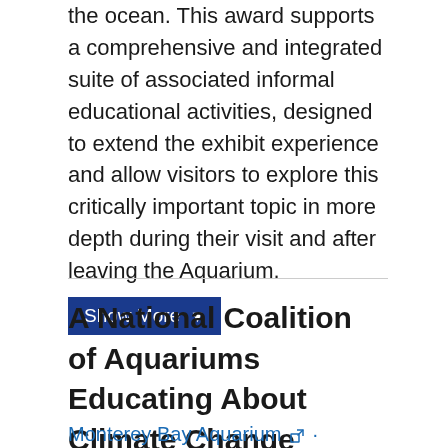the ocean. This award supports a comprehensive and integrated suite of associated informal educational activities, designed to extend the exhibit experience and allow visitors to explore this critically important topic in more depth during their visit and after leaving the Aquarium.
Show More ▼
A National Coalition of Aquariums Educating About Climate Change
Monterey Bay Aquarium · Monterey, California